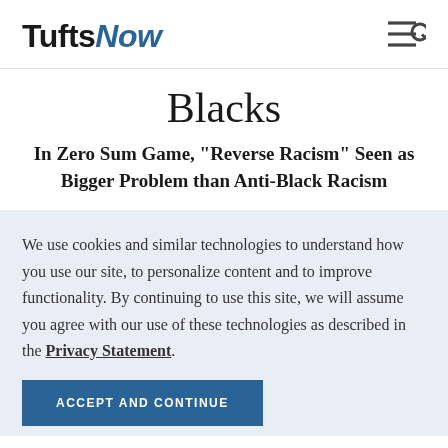Tufts Now
Blacks
In Zero Sum Game, "Reverse Racism" Seen as Bigger Problem than Anti-Black Racism
We use cookies and similar technologies to understand how you use our site, to personalize content and to improve functionality. By continuing to use this site, we will assume you agree with our use of these technologies as described in the Privacy Statement.
ACCEPT AND CONTINUE